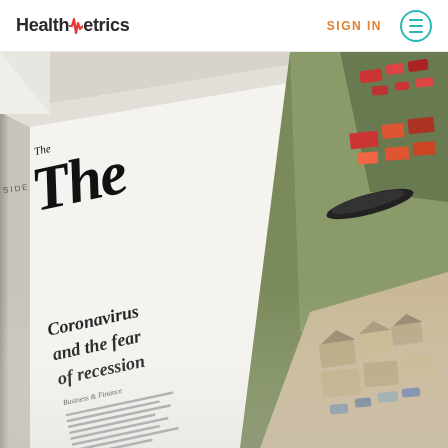HealthMetrics | SIGN IN
[Figure (photo): A newspaper page photographed at an angle showing a headline that reads 'Coronavirus and the fear of recession', with a large aerial photograph of flooded or waterlogged area with vehicles and structures, belonging to what appears to be The Guardian or similar broadsheet newspaper.]